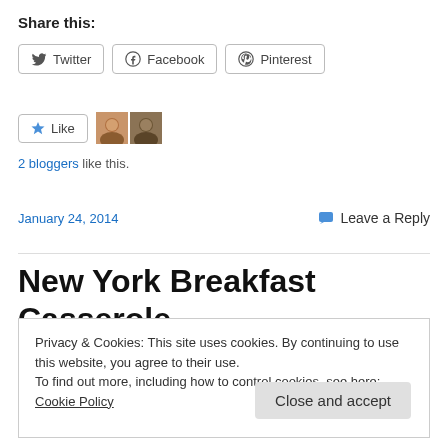Share this:
[Figure (screenshot): Social share buttons: Twitter, Facebook, Pinterest]
[Figure (screenshot): Like button with two blogger avatars]
2 bloggers like this.
January 24, 2014
Leave a Reply
New York Breakfast Casserole
Privacy & Cookies: This site uses cookies. By continuing to use this website, you agree to their use. To find out more, including how to control cookies, see here: Cookie Policy
Close and accept
realize. But here I am, giving this a go with the full